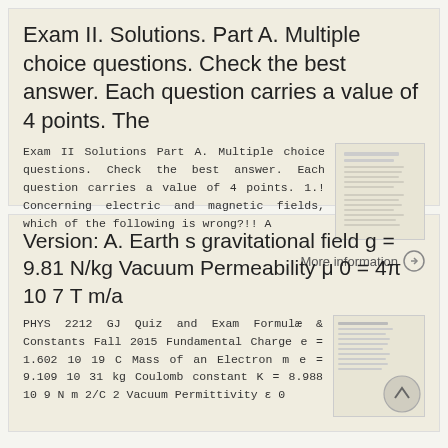Exam II. Solutions. Part A. Multiple choice questions. Check the best answer. Each question carries a value of 4 points. The
Exam II Solutions Part A. Multiple choice questions. Check the best answer. Each question carries a value of 4 points. 1.! Concerning electric and magnetic fields, which of the following is wrong?!! A
Version: A. Earth s gravitational field g = 9.81 N/kg Vacuum Permeability μ 0 = 4π 10 7 T m/a
PHYS 2212 GJ Quiz and Exam Formulæ & Constants Fall 2015 Fundamental Charge e = 1.602 10 19 C Mass of an Electron m e = 9.109 10 31 kg Coulomb constant K = 8.988 10 9 N m 2/C 2 Vacuum Permittivity ε 0